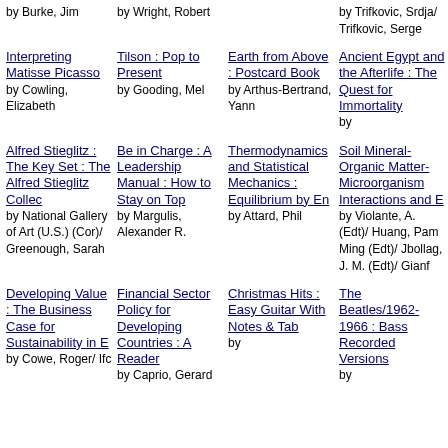by Burke, Jim
by Wright, Robert
by Trifkovic, Srdja/ Trifkovic, Serge
Interpreting Matisse Picasso by Cowling, Elizabeth
Tilson : Pop to Present by Gooding, Mel
Earth from Above : Postcard Book by Arthus-Bertrand, Yann
Ancient Egypt and the Afterlife : The Quest for Immortality by
Alfred Stieglitz : The Key Set : The Alfred Stieglitz Collec by National Gallery of Art (U.S.) (Cor)/ Greenough, Sarah
Be in Charge : A Leadership Manual : How to Stay on Top by Margulis, Alexander R.
Thermodynamics and Statistical Mechanics : Equilibrium by En by Attard, Phil
Soil Mineral-Organic Matter-Microorganism Interactions and E by Violante, A. (Edt)/ Huang, Pam Ming (Edt)/ Jbollag, J. M. (Edt)/ Gianf
Developing Value : The Business Case for Sustainability in E by Cowe, Roger/ Ifc
Financial Sector Policy for Developing Countries : A Reader by Caprio, Gerard
Christmas Hits : Easy Guitar With Notes & Tab by
The Beatles/1962-1966 : Bass Recorded Versions by